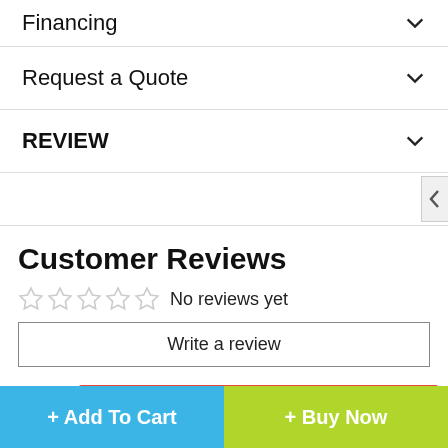Financing
Request a Quote
REVIEW
Customer Reviews
No reviews yet
Write a review
80 Sold
+ Add To Cart
+ Buy Now